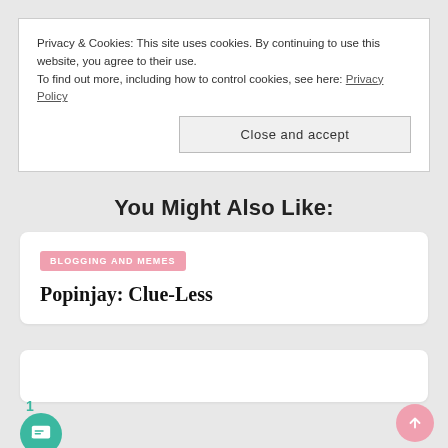Privacy & Cookies: This site uses cookies. By continuing to use this website, you agree to their use.
To find out more, including how to control cookies, see here: Privacy Policy
Close and accept
You Might Also Like:
BLOGGING AND MEMES
Popinjay: Clue-Less